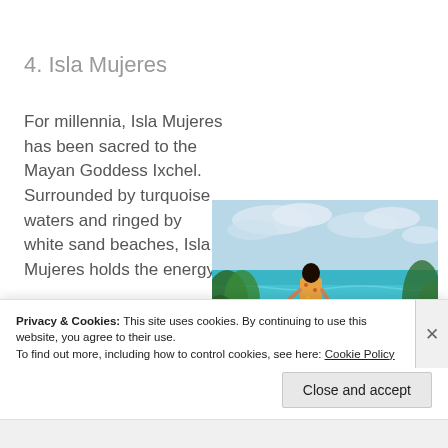4. Isla Mujeres
For millennia, Isla Mujeres has been sacred to the Mayan Goddess Ixchel. Surrounded by turquoise waters and ringed by white sand beaches, Isla Mujeres holds the energy,
[Figure (photo): A woman in a floral dress standing on a terrace overlooking a turquoise ocean with white sand beach, palm trees in the foreground, cloudy sky.]
Privacy & Cookies: This site uses cookies. By continuing to use this website, you agree to their use.
To find out more, including how to control cookies, see here: Cookie Policy
Close and accept